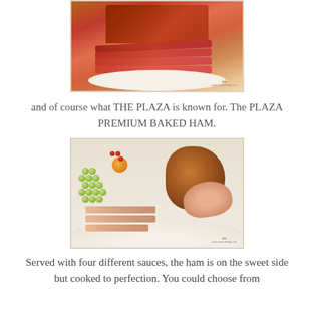[Figure (photo): Photo of sliced corned beef or roast meat on a white plate, showing a large block of meat with several thin slices fanned out in front]
and of course what THE PLAZA is known for. The PLAZA PREMIUM BAKED HAM.
[Figure (photo): Photo of Plaza Premium Baked Ham on a white plate, with a large glazed ham joint surrounded by sliced ham, green grapes, orange fruit, and berry garnish]
Served with four different sauces, the ham is on the sweet side but cooked to perfection. You could choose from